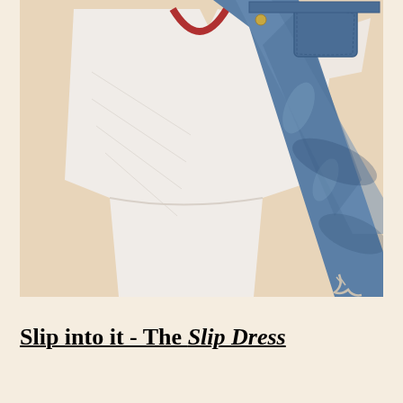[Figure (photo): Flat lay photo on a peach/cream background showing a white t-shirt with red trim at the collar and a pair of medium-wash distressed denim jeans laid diagonally overlapping. The jeans show fading, whiskering, and a rip at the bottom hem.]
Slip into it - The Slip Dress